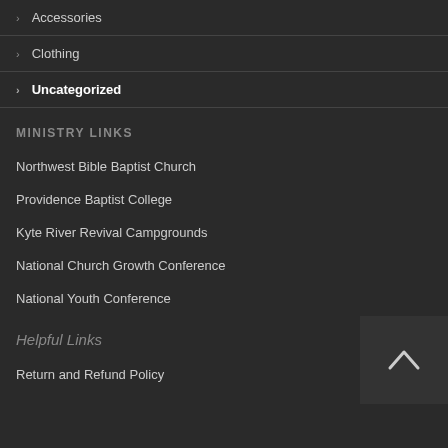Accessories
Clothing
Uncategorized
MINISTRY LINKS
Northwest Bible Baptist Church
Providence Baptist College
Kyte River Revival Campgrounds
National Church Growth Conference
National Youth Conference
Helpful Links
Return and Refund Policy